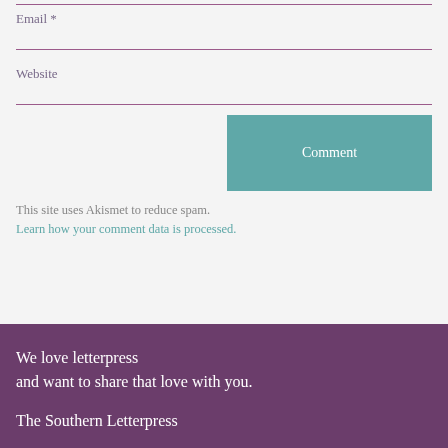Email *
Website
Comment
This site uses Akismet to reduce spam. Learn how your comment data is processed.
We love letterpress and want to share that love with you.
The Southern Letterpress